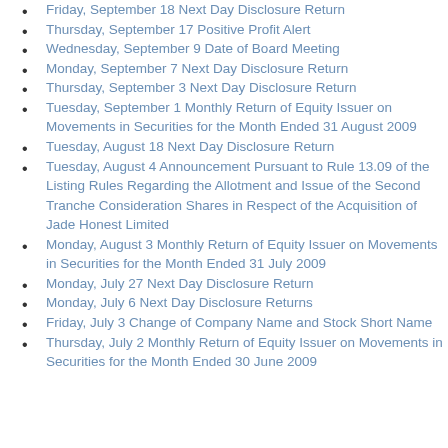Friday, September 18 Next Day Disclosure Return
Thursday, September 17 Positive Profit Alert
Wednesday, September 9 Date of Board Meeting
Monday, September 7 Next Day Disclosure Return
Thursday, September 3 Next Day Disclosure Return
Tuesday, September 1 Monthly Return of Equity Issuer on Movements in Securities for the Month Ended 31 August 2009
Tuesday, August 18 Next Day Disclosure Return
Tuesday, August 4 Announcement Pursuant to Rule 13.09 of the Listing Rules Regarding the Allotment and Issue of the Second Tranche Consideration Shares in Respect of the Acquisition of Jade Honest Limited
Monday, August 3 Monthly Return of Equity Issuer on Movements in Securities for the Month Ended 31 July 2009
Monday, July 27 Next Day Disclosure Return
Monday, July 6 Next Day Disclosure Returns
Friday, July 3 Change of Company Name and Stock Short Name
Thursday, July 2 Monthly Return of Equity Issuer on Movements in Securities for the Month Ended 30 June 2009